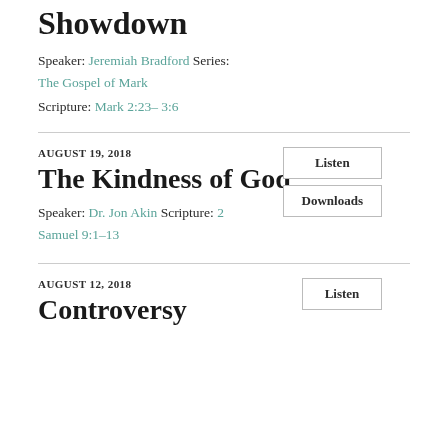Showdown
Speaker: Jeremiah Bradford Series:
The Gospel of Mark
Scripture: Mark 2:23– 3:6
AUGUST 19, 2018
The Kindness of God
Speaker: Dr. Jon Akin Scripture: 2
Samuel 9:1–13
AUGUST 12, 2018
Controversy